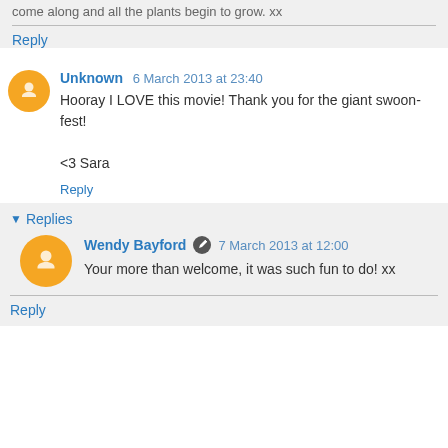come along and all the plants begin to grow. xx
Reply
Unknown  6 March 2013 at 23:40
Hooray I LOVE this movie! Thank you for the giant swoon-fest!

<3 Sara
Reply
▼ Replies
Wendy Bayford  7 March 2013 at 12:00
Your more than welcome, it was such fun to do! xx
Reply